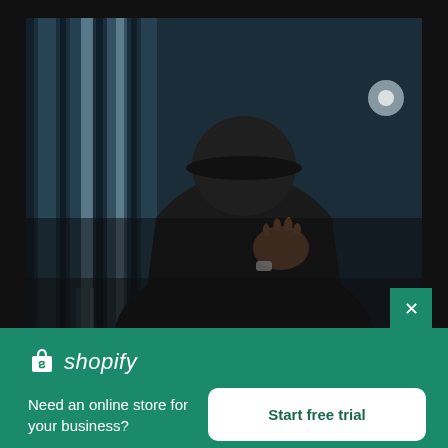[Figure (photo): A person seen from behind, wearing a dark cap and dark jacket, placing a hand on their chest. Background shows blurred vertical curtain-like structures in dark blue tones.]
×
[Figure (logo): Shopify logo: white shopping bag icon followed by italic white text 'shopify']
Need an online store for your business?
Start free trial